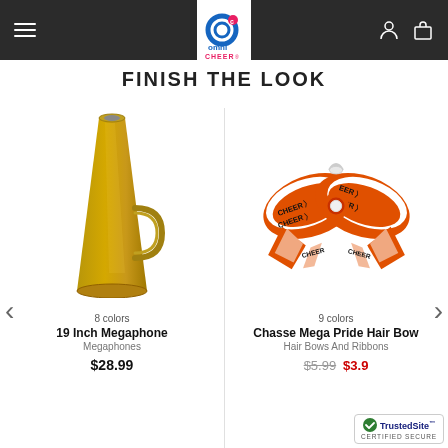Omni Cheer navigation header
FINISH THE LOOK
[Figure (photo): Gold 19 Inch Megaphone product photo on white background]
8 colors
19 Inch Megaphone
Megaphones
$28.99
[Figure (photo): Orange and white Chasse Mega Pride Hair Bow with CHEER text on white background]
9 colors
Chasse Mega Pride Hair Bow
Hair Bows And Ribbons
$5.99 $3.9